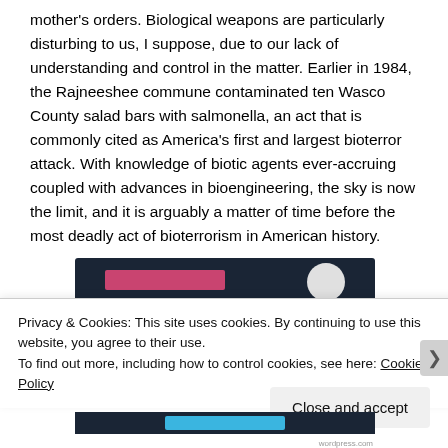mother's orders. Biological weapons are particularly disturbing to us, I suppose, due to our lack of understanding and control in the matter. Earlier in 1984, the Rajneeshee commune contaminated ten Wasco County salad bars with salmonella, an act that is commonly cited as America's first and largest bioterror attack. With knowledge of biotic agents ever-accruing coupled with advances in bioengineering, the sky is now the limit, and it is arguably a matter of time before the most deadly act of bioterrorism in American history.
[Figure (screenshot): Partial screenshot of a webpage with dark navy background, a pink horizontal bar and a light gray circle visible, partially covered by a cookie consent banner.]
Privacy & Cookies: This site uses cookies. By continuing to use this website, you agree to their use.
To find out more, including how to control cookies, see here: Cookie Policy
Close and accept